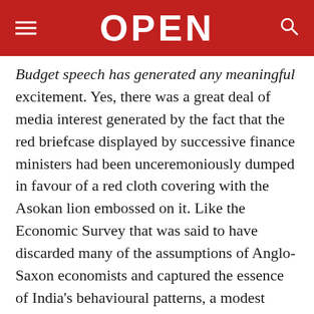OPEN
Budget speech has generated any meaningful excitement. Yes, there was a great deal of media interest generated by the fact that the red briefcase displayed by successive finance ministers had been unceremoniously dumped in favour of a red cloth covering with the Asokan lion embossed on it. Like the Economic Survey that was said to have discarded many of the assumptions of Anglo-Saxon economists and captured the essence of India's behavioural patterns, a modest attempt was made to showcase the Budget as something more authentic.